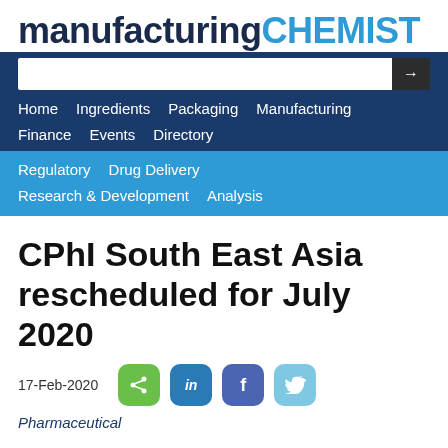manufacturing CHEMIST
CPhI South East Asia rescheduled for July 2020
17-Feb-2020
Pharmaceutical